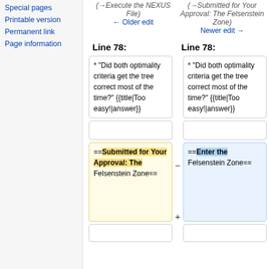Special pages
Printable version
Permanent link
Page information
(→Execute the NEXUS File) ← Older edit
(→Submitted for Your Approval: The Felsenstein Zone) Newer edit →
Line 78:
Line 78:
* "Did both optimality criteria get the tree correct most of the time?" {{title|Too easy!|answer}}
* "Did both optimality criteria get the tree correct most of the time?" {{title|Too easy!|answer}}
==Submitted for Your Approval: The Felsenstein Zone==
==Enter the Felsenstein Zone==